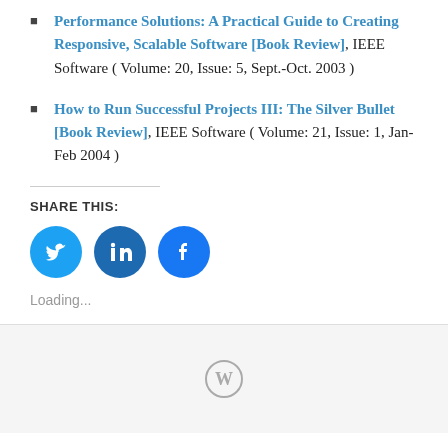Performance Solutions: A Practical Guide to Creating Responsive, Scalable Software [Book Review], IEEE Software ( Volume: 20, Issue: 5, Sept.-Oct. 2003 )
How to Run Successful Projects III: The Silver Bullet [Book Review], IEEE Software ( Volume: 21, Issue: 1, Jan-Feb 2004 )
SHARE THIS:
[Figure (infographic): Three circular social media share buttons: Twitter (light blue), LinkedIn (dark blue), Facebook (blue)]
Loading...